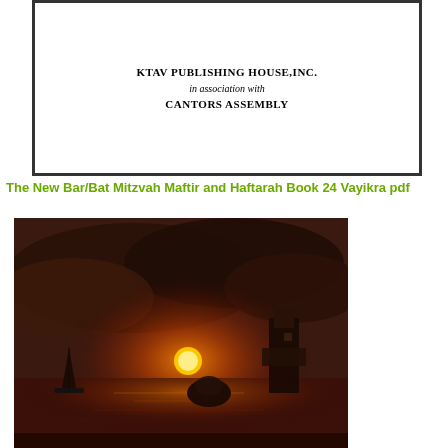[Figure (illustration): Book cover box with publisher text: KTAV PUBLISHING HOUSE,INC. in association with CANTORS ASSEMBLY]
The New Bar/Bat Mitzvah Maftir and Haftarah Book 24 Vayikra pdf
[Figure (photo): A dramatic seascape painting showing a dark stormy sky with orange-red sunset glow, a lighthouse or tower structure on the right, rocky outcroppings in the water, a small sailboat on the left, and reflections of the sunset on the water surface.]